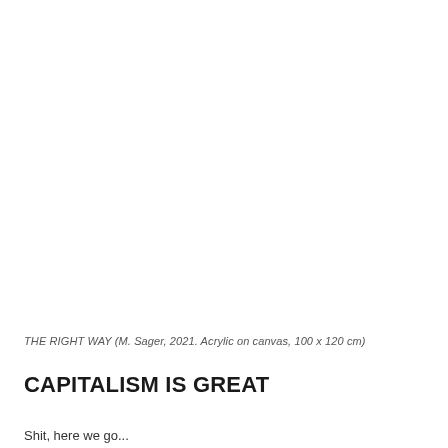[Figure (photo): Blank white area representing an artwork (THE RIGHT WAY by M. Sager, 2021, Acrylic on canvas, 100 x 120 cm)]
THE RIGHT WAY (M. Sager, 2021. Acrylic on canvas, 100 x 120 cm)
CAPITALISM IS GREAT
Shit, here we go...